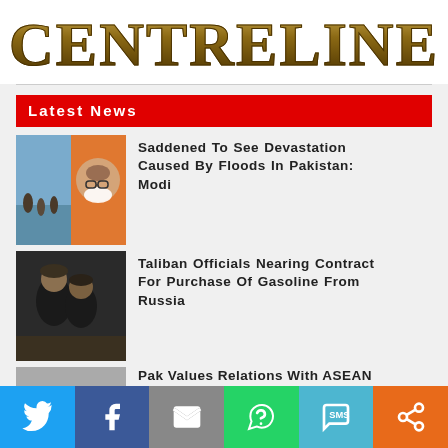CENTRELINE
Latest News
Saddened To See Devastation Caused By Floods In Pakistan: Modi
Taliban Officials Nearing Contract For Purchase Of Gasoline From Russia
Pak Values Relations With ASEAN